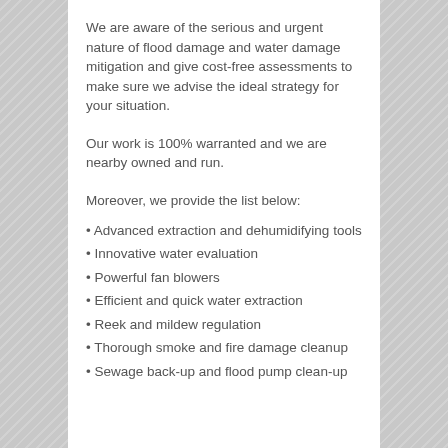We are aware of the serious and urgent nature of flood damage and water damage mitigation and give cost-free assessments to make sure we advise the ideal strategy for your situation.
Our work is 100% warranted and we are nearby owned and run.
Moreover, we provide the list below:
Advanced extraction and dehumidifying tools
Innovative water evaluation
Powerful fan blowers
Efficient and quick water extraction
Reek and mildew regulation
Thorough smoke and fire damage cleanup
Sewage back-up and flood pump clean-up